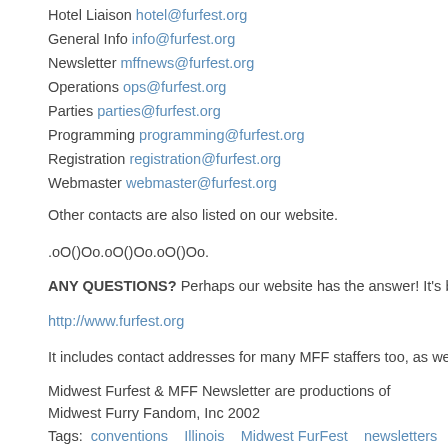Hotel Liaison hotel@furfest.org
General Info info@furfest.org
Newsletter mffnews@furfest.org
Operations ops@furfest.org
Parties parties@furfest.org
Programming programming@furfest.org
Registration registration@furfest.org
Webmaster webmaster@furfest.org
Other contacts are also listed on our website.
.oO()Oo.oO()Oo.oO()Oo.
ANY QUESTIONS? Perhaps our website has the answer! It's being updat
http://www.furfest.org
It includes contact addresses for many MFF staffers too, as well as a "w
Midwest Furfest & MFF Newsletter are productions of
Midwest Furry Fandom, Inc 2002
Tags: conventions   Illinois   Midwest FurFest   newsletters
Post new comment